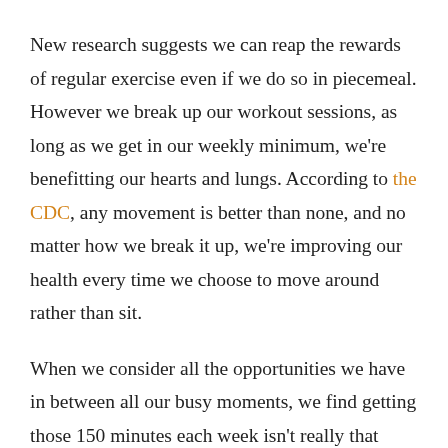New research suggests we can reap the rewards of regular exercise even if we do so in piecemeal. However we break up our workout sessions, as long as we get in our weekly minimum, we're benefitting our hearts and lungs. According to the CDC, any movement is better than none, and no matter how we break it up, we're improving our health every time we choose to move around rather than sit.
When we consider all the opportunities we have in between all our busy moments, we find getting those 150 minutes each week isn't really that hard. Forbes offers some great ideas to get started: